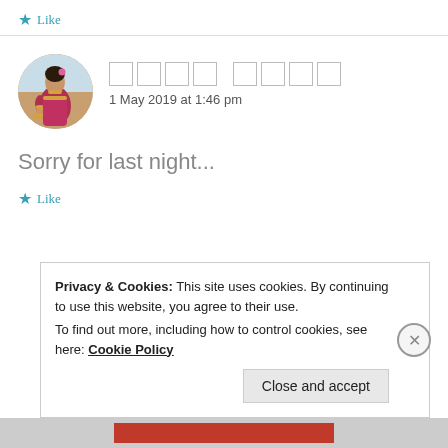★ Like
[Figure (photo): Circular avatar photo of a woman in traditional Indian attire with jewelry and colorful outfit]
□□□□ □□□□
1 May 2019 at 1:46 pm
Sorry for last night...
★ Like
Privacy & Cookies: This site uses cookies. By continuing to use this website, you agree to their use.
To find out more, including how to control cookies, see here: Cookie Policy
Close and accept